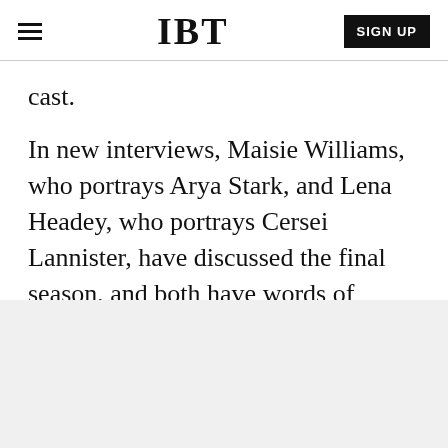IBT
cast.
In new interviews, Maisie Williams, who portrays Arya Stark, and Lena Headey, who portrays Cersei Lannister, have discussed the final season, and both have words of caution for the fans who are eagerly anticipating the show’s conclusion.